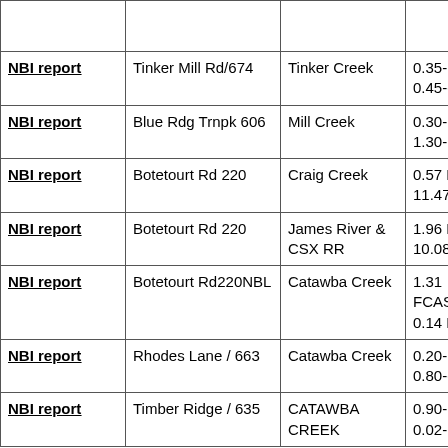|  |  |  |  |
| NBI report | Tinker Mill Rd/674 | Tinker Creek | 0.35-Rte656; 0.45-end mt |
| NBI report | Blue Rdg Trnpk 606 | Mill Creek | 0.30-Rte11; 1.30-Rte640 |
| NBI report | Botetourt Rd 220 | Craig Creek | 0.57 Rt 43; 11.47 Aleg C |
| NBI report | Botetourt Rd 220 | James River & CSX RR | 1.96 Rt 870; 10.08 Aleg C |
| NBI report | Botetourt Rd220NBL | Catawba Creek | 1.31 FCASTLE; 0.14 RT 655 |
| NBI report | Rhodes Lane / 663 | Catawba Creek | 0.20-Rte779; 0.80-end mt |
| NBI report | Timber Ridge / 635 | CATAWBA CREEK | 0.90-220; 0.02-RT 730 |